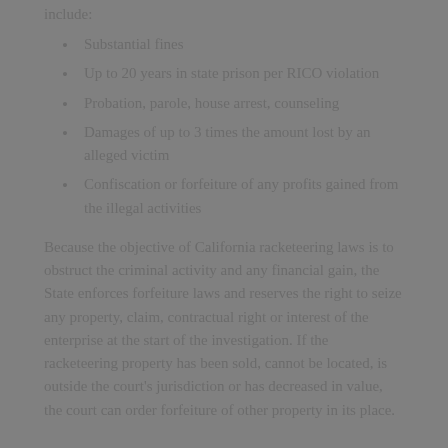include:
Substantial fines
Up to 20 years in state prison per RICO violation
Probation, parole, house arrest, counseling
Damages of up to 3 times the amount lost by an alleged victim
Confiscation or forfeiture of any profits gained from the illegal activities
Because the objective of California racketeering laws is to obstruct the criminal activity and any financial gain, the State enforces forfeiture laws and reserves the right to seize any property, claim, contractual right or interest of the enterprise at the start of the investigation. If the racketeering property has been sold, cannot be located, is outside the court's jurisdiction or has decreased in value, the court can order forfeiture of other property in its place.